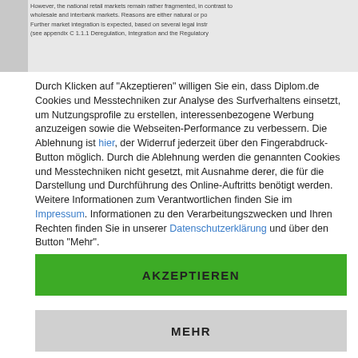However, the national retail markets remain rather fragmented, in contrast to wholesale and interbank markets. Reasons are either natural or po... Further market integration is expected, based on several legal instr... (see appendix C 1.1.1 Deregulation, Integration and the Regulatory...
Durch Klicken auf "Akzeptieren" willigen Sie ein, dass Diplom.de Cookies und Messtechniken zur Analyse des Surfverhaltens einsetzt, um Nutzungsprofile zu erstellen, interessenbezogene Werbung anzuzeigen sowie die Webseiten-Performance zu verbessern. Die Ablehnung ist hier, der Widerruf jederzeit über den Fingerabdruck-Button möglich. Durch die Ablehnung werden die genannten Cookies und Messtechniken nicht gesetzt, mit Ausnahme derer, die für die Darstellung und Durchführung des Online-Auftritts benötigt werden. Weitere Informationen zum Verantwortlichen finden Sie im Impressum. Informationen zu den Verarbeitungszwecken und Ihren Rechten finden Sie in unserer Datenschutzerklärung und über den Button "Mehr".
AKZEPTIEREN
MEHR
Powered by usercentrics & TRUSTED SHOPS